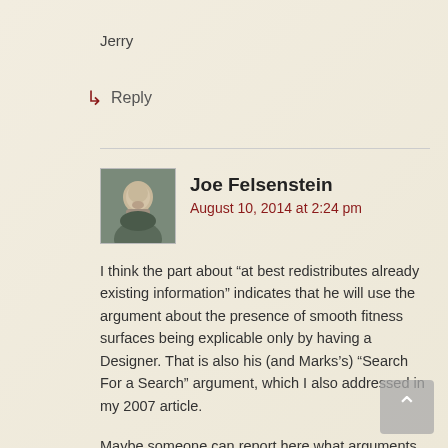Jerry
↳ Reply
Joe Felsenstein
August 10, 2014 at 2:24 pm
I think the part about “at best redistributes already existing information” indicates that he will use the argument about the presence of smooth fitness surfaces being explicable only by having a Designer. That is also his (and Marks’s) “Search For a Search” argument, which I also addressed in my 2007 article.
Maybe someone can report here what arguments he actually uses. I’m willing to make one of my 25¢ bets on the matter.